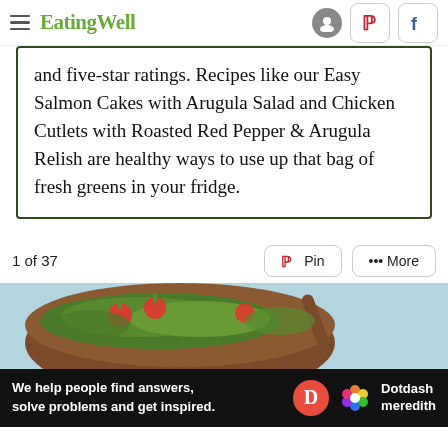EatingWell
and five-star ratings. Recipes like our Easy Salmon Cakes with Arugula Salad and Chicken Cutlets with Roasted Red Pepper & Arugula Relish are healthy ways to use up that bag of fresh greens in your fridge.
1 of 37
[Figure (photo): A bowl of salad with arugula, radishes, and other greens on a light blue background, partially visible]
[Figure (infographic): Dotdash Meredith advertisement banner: 'We help people find answers, solve problems and get inspired.' with Dotdash Meredith logo]